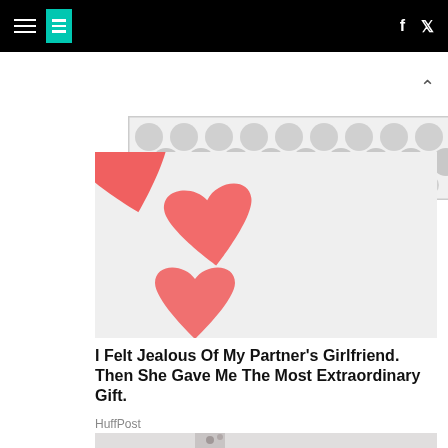HuffPost navigation with hamburger menu, logo, Facebook and Twitter icons
[Figure (other): Advertisement banner with circular dot/bubble pattern in grey tones]
[Figure (photo): Three red/coral paper heart shapes on a light grey/white background]
I Felt Jealous Of My Partner's Girlfriend. Then She Gave Me The Most Extraordinary Gift.
HuffPost
[Figure (photo): Partial image showing what appears to be mold or dirt in a corner of a wall with a gloved hand]